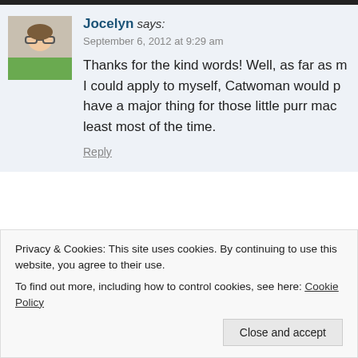Jocelyn says: September 6, 2012 at 9:29 am — Thanks for the kind words! Well, as far as I could apply to myself, Catwoman would p… have a major thing for those little purr mac… least most of the time.
Reply
followechoes says: September 4, 2012 at 2:50 am
Privacy & Cookies: This site uses cookies. By continuing to use this website, you agree to their use. To find out more, including how to control cookies, see here: Cookie Policy
Close and accept